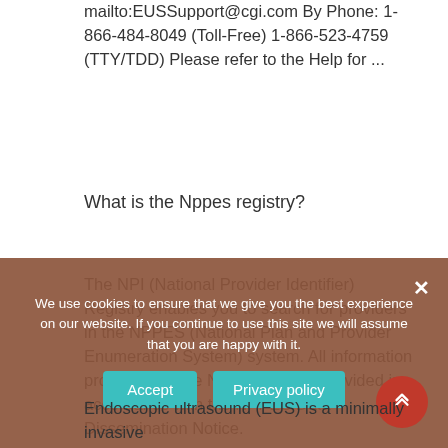mailto:EUSSupport@cgi.com By Phone: 1-866-484-8049 (Toll-Free) 1-866-523-4759 (TTY/TDD) Please refer to the Help for ...
What is the Nppes registry?
The NPI (National Provider Identifier) Registry enables you to search for providers in the NPPES (National Plan and Provider Enumeration System) system. All information produced by the NPI Registry is provided in accordance with the NPPES Data Dissemination Notice.
We use cookies to ensure that we give you the best experience on our website. If you continue to use this site we will assume that you are happy with it.
Endoscopic ultrasound (EUS) is a minimally invasive